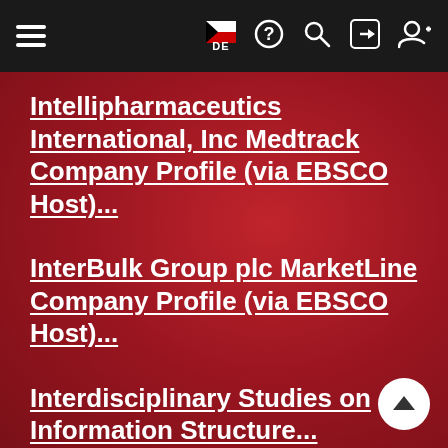Navigation bar with hamburger menu, DE flag, help, search, login, register icons
Intellipharmaceutics International, Inc Medtrack Company Profile (via EBSCO Host)...
InterBulk Group plc MarketLine Company Profile (via EBSCO Host)...
Interdisciplinary Studies on Information Structure...
Interfax : Ukraine Business Weekly (via ProQuest)...